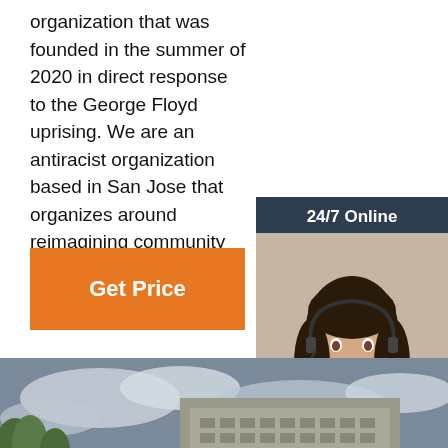organization that was founded in the summer of 2020 in direct response to the George Floyd uprising. We are an antiracist organization based in San Jose that organizes around reimagining community safety.
[Figure (other): Orange 'Get Price' button]
[Figure (other): Sidebar advertisement with '24/7 Online' header, photo of woman with headset, 'Click here for free chat!' text, and orange QUOTATION button]
[Figure (photo): Aerial street-level photo of an urban downtown area with commercial buildings, a parking garage, crowds of people, and colorful inflatable water slides on the right side. 'TOP' logo visible.]